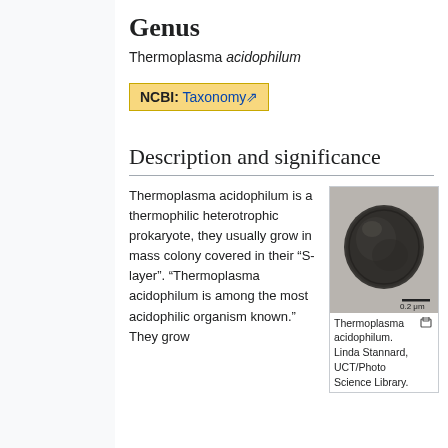Genus
Thermoplasma acidophilum
NCBI: Taxonomy
Description and significance
Thermoplasma acidophilum is a thermophilic heterotrophic prokaryote, they usually grow in mass colony covered in their “S-layer”. “Thermoplasma acidophilum is among the most acidophilic organism known.” They grow
[Figure (photo): Electron micrograph of Thermoplasma acidophilum cell, showing a roughly spherical dark cell. Scale bar: 0.2 μm. Credit: Linda Stannard, UCT/Photo Science Library.]
Thermoplasma acidophilum. Linda Stannard, UCT/Photo Science Library.